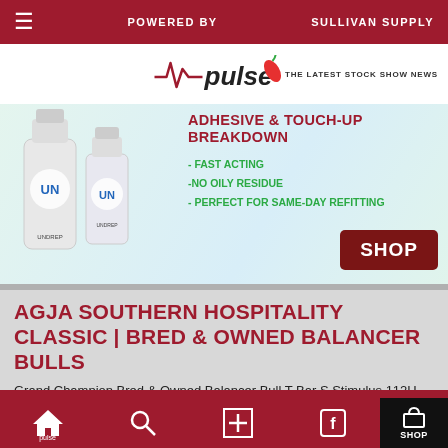POWERED BY   SULLIVAN SUPPLY
[Figure (infographic): Pulse stock show news logo with tagline 'The Latest Stock Show News' and advertisement for adhesive and touch-up products (UNDREP brand bottles). Ad text: ADHESIVE & TOUCH-UP BREAKDOWN - FAST ACTING -NO OILY RESIDUE - PERFECT FOR SAME-DAY REFITTING. SHOP button.]
AGJA SOUTHERN HOSPITALITY CLASSIC | BRED & OWNED BALANCER BULLS
Grand Champion Bred & Owned Balancer Bull T Bar S Stimulus 112H Sire: GDV T Bar S Giddy Up 102D [...]
4:01 PM - JUNE 24, 2021
AGJA SOUTHERN HOSPITALITY CLASSIC |
pulse  [search]  [+]  [facebook]  SHOP